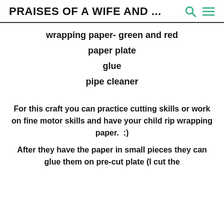PRAISES OF A WIFE AND ...
wrapping paper- green and red
paper plate
glue
pipe cleaner
For this craft you can practice cutting skills or work on fine motor skills and have your child rip wrapping paper.  :)
After they have the paper in small pieces they can glue them on pre-cut plate (I cut the middle of the plate out)